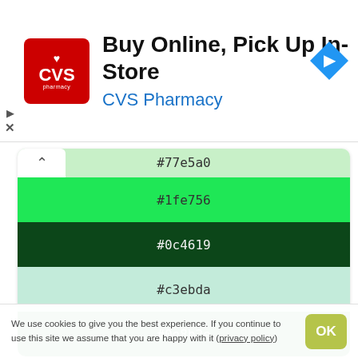[Figure (screenshot): CVS Pharmacy advertisement banner with logo, title 'Buy Online, Pick Up In-Store', and subtitle 'CVS Pharmacy' with navigation icon]
[Figure (infographic): Color palette swatches showing hex codes: #77e5a0, #1fe756, #0c4619, #c3ebda, #0e8b2e]
Czerwony
[Figure (infographic): Color palette swatches showing hex codes: #be9795, #db602e, #be5730]
We use cookies to give you the best experience. If you continue to use this site we assume that you are happy with it (privacy policy)